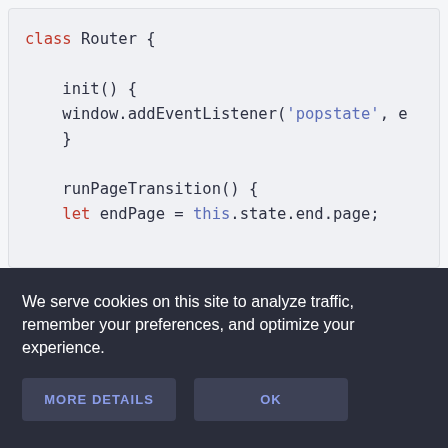[Figure (screenshot): Code editor screenshot showing a JavaScript Router class with init() and runPageTransition() methods]
We serve cookies on this site to analyze traffic, remember your preferences, and optimize your experience.
MORE DETAILS | OK